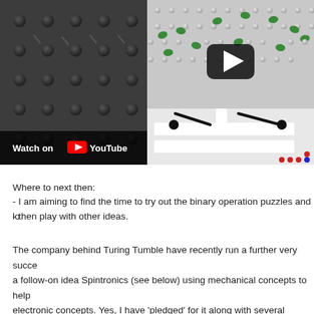[Figure (photo): A split image: left half shows dark grey Turing Tumble board with embossed bumps, right half shows white board with green components and mechanical arms. A YouTube play button overlay is visible on the right side. A 'Watch on YouTube' bar appears at the bottom left.]
Where to next then:
- I am aiming to find the time to try out the binary operation puzzles and lo
- then play with other ideas.
The company behind Turing Tumble have recently run a further very succe a follow-on idea Spintronics (see below) using mechanical concepts to help electronic concepts. Yes, I have 'pledged' for it along with several thousand Steampunk.